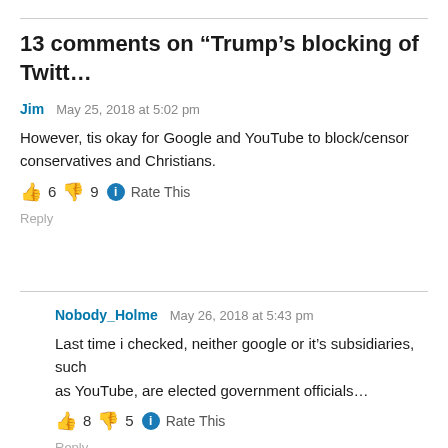13 comments on “Trump’s blocking of Twitt…”
Jim  May 25, 2018 at 5:02 pm
However, tis okay for Google and YouTube to block/censor conservatives and Christians.
👍 6 👎 9 ℹ️ Rate This
Reply
Nobody_Holme  May 26, 2018 at 5:43 pm
Last time i checked, neither google or it's subsidiaries, such as YouTube, are elected government officials...
👍 8 👎 5 ℹ️ Rate This
Reply